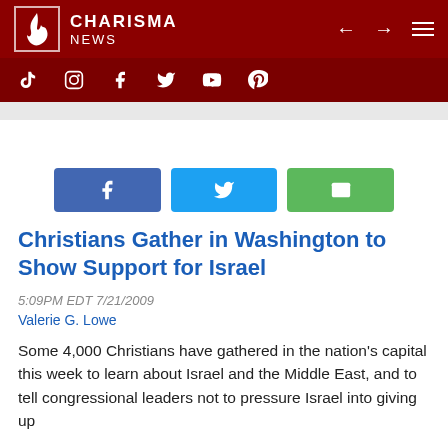CHARISMA NEWS
[Figure (logo): Charisma News logo with flame icon on dark red background with social media icons bar (TikTok, Instagram, Facebook, Twitter, YouTube, Pinterest)]
[Figure (infographic): Social share buttons: Facebook (blue), Twitter (cyan), Email (green)]
Christians Gather in Washington to Show Support for Israel
5:09PM EDT 7/21/2009
Valerie G. Lowe
Some 4,000 Christians have gathered in the nation's capital this week to learn about Israel and the Middle East, and to tell congressional leaders not to pressure Israel into giving up